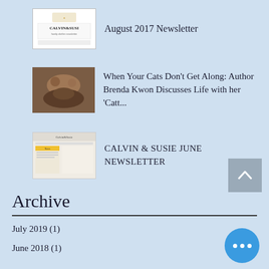[Figure (logo): Calvin & Susie logo thumbnail]
August 2017 Newsletter
[Figure (photo): Two cats photo thumbnail]
When Your Cats Don't Get Along: Author Brenda Kwon Discusses Life with her 'Catt...
[Figure (screenshot): Calvin & Susie June newsletter thumbnail]
CALVIN & SUSIE JUNE NEWSLETTER
Archive
July 2019 (1)
June 2018 (1)